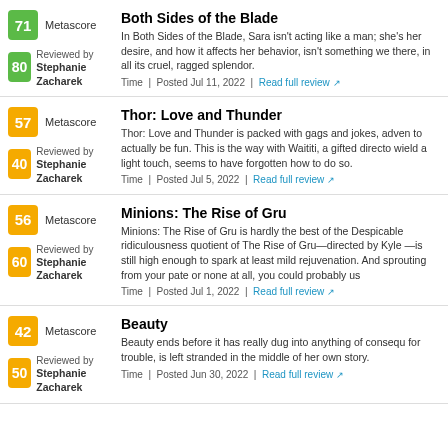Both Sides of the Blade — Metascore 71, Reviewed by Stephanie Zacharek (score 80). In Both Sides of the Blade, Sara isn't acting like a man; she's her desire, and how it affects her behavior, isn't something we there, in all its cruel, ragged splendor. Time | Posted Jul 11, 2022 | Read full review
Thor: Love and Thunder — Metascore 57, Reviewed by Stephanie Zacharek (score 40). Thor: Love and Thunder is packed with gags and jokes, adven to actually be fun. This is the way with Waititi, a gifted directo wield a light touch, seems to have forgotten how to do so. Time | Posted Jul 5, 2022 | Read full review
Minions: The Rise of Gru — Metascore 56, Reviewed by Stephanie Zacharek (score 60). Minions: The Rise of Gru is hardly the best of the Despicable ridiculousness quotient of The Rise of Gru—directed by Kyle —is still high enough to spark at least mild rejuvenation. And sprouting from your pate or none at all, you could probably us Time | Posted Jul 1, 2022 | Read full review
Beauty — Metascore 42, Reviewed by Stephanie Zacharek (score 50). Beauty ends before it has really dug into anything of consequ for trouble, is left stranded in the middle of her own story. Time | Posted Jun 30, 2022 | Read full review